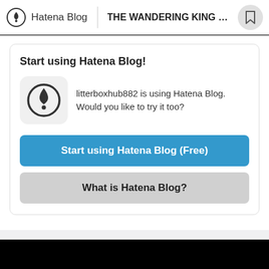Hatena Blog | THE WANDERING KING OF NYC C...
Start using Hatena Blog!
litterboxhub882 is using Hatena Blog. Would you like to try it too?
Start using Hatena Blog (Free)
What is Hatena Blog?